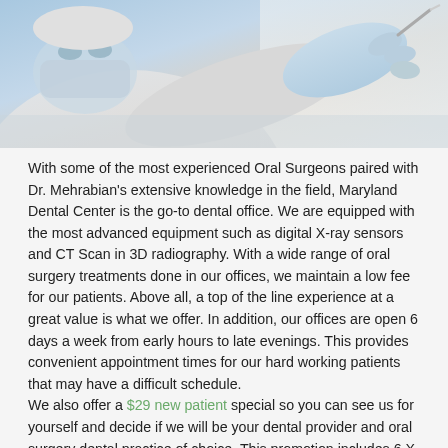[Figure (photo): Close-up photo of a dental procedure being performed. A masked dental professional in white gloves is working on a patient in a dental chair. Light blue and white tones dominate the image.]
With some of the most experienced Oral Surgeons paired with Dr. Mehrabian's extensive knowledge in the field, Maryland Dental Center is the go-to dental office. We are equipped with the most advanced equipment such as digital X-ray sensors and CT Scan in 3D radiography. With a wide range of oral surgery treatments done in our offices, we maintain a low fee for our patients. Above all, a top of the line experience at a great value is what we offer. In addition, our offices are open 6 days a week from early hours to late evenings. This provides convenient appointment times for our hard working patients that may have a difficult schedule.
We also offer a $29 new patient special so you can see us for yourself and decide if we will be your dental provider and oral surgery dental practice of choice. This promotion includes 6 X-rays, limited dental exam and consult. We provide you with a list of what you need and a price breakdown of all fees. This offer allows new patients to experience our work first hand before making import dental decisions. The next time you are in need of an Oral Surgeon for any procedure,